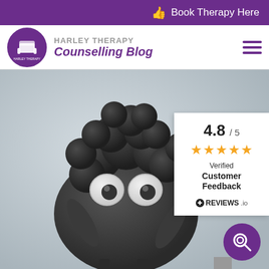Book Therapy Here
HARLEY THERAPY Counselling Blog
[Figure (photo): Close-up photo of a dark grey clay/polymer figurine of a sheep (or Shaun the Sheep style character) with white googly eyes and small horn/ear protrusions, photographed against a light grey background. The fluffy wool on top is made of dark grey clay balls clustered together.]
4.8 / 5 ★★★★★ Verified Customer Feedback REVIEWS.io